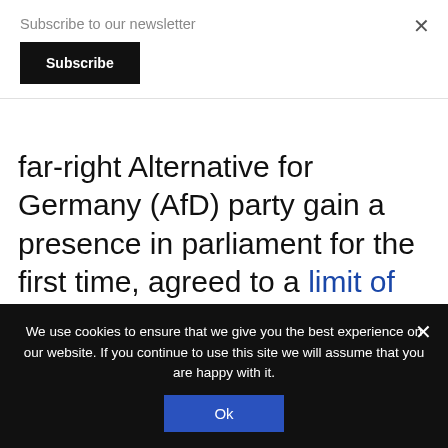Subscribe to our newsletter
Subscribe
far-right Alternative for Germany (AfD) party gain a presence in parliament for the first time, agreed to a limit of 200,000 asylum seekers per year.
Sweden and Austria also have accepted
We use cookies to ensure that we give you the best experience on our website. If you continue to use this site we will assume that you are happy with it.
Ok